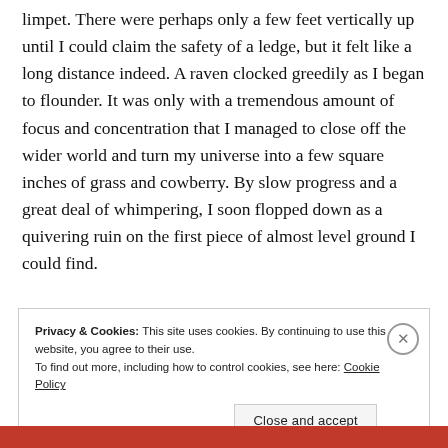limpet. There were perhaps only a few feet vertically up until I could claim the safety of a ledge, but it felt like a long distance indeed. A raven clocked greedily as I began to flounder. It was only with a tremendous amount of focus and concentration that I managed to close off the wider world and turn my universe into a few square inches of grass and cowberry. By slow progress and a great deal of whimpering, I soon flopped down as a quivering ruin on the first piece of almost level ground I could find.
Privacy & Cookies: This site uses cookies. By continuing to use this website, you agree to their use. To find out more, including how to control cookies, see here: Cookie Policy